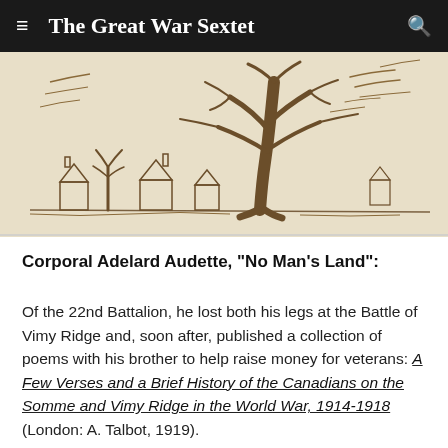The Great War Sextet
[Figure (illustration): Pencil sketch drawing of houses with chimney-like structures and a large bare tree in the foreground, wartime landscape scene titled No Man's Land]
Corporal Adelard Audette, "No Man's Land":
Of the 22nd Battalion, he lost both his legs at the Battle of Vimy Ridge and, soon after, published a collection of poems with his brother to help raise money for veterans: A Few Verses and a Brief History of the Canadians on the Somme and Vimy Ridge in the World War, 1914-1918 (London: A. Talbot, 1919).